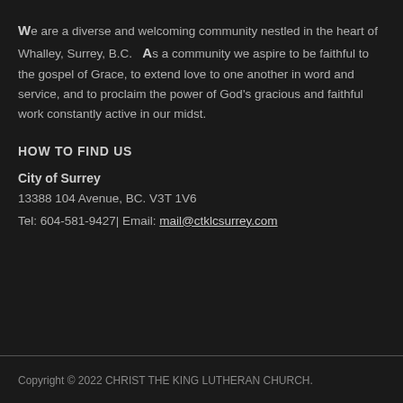We are a diverse and welcoming community nestled in the heart of Whalley, Surrey, B.C.   As a community we aspire to be faithful to the gospel of Grace, to extend love to one another in word and service, and to proclaim the power of God's gracious and faithful work constantly active in our midst.
HOW TO FIND US
City of Surrey
13388 104 Avenue, BC. V3T 1V6
Tel: 604-581-9427| Email: mail@ctklcsurrey.com
Copyright © 2022 CHRIST THE KING LUTHERAN CHURCH.